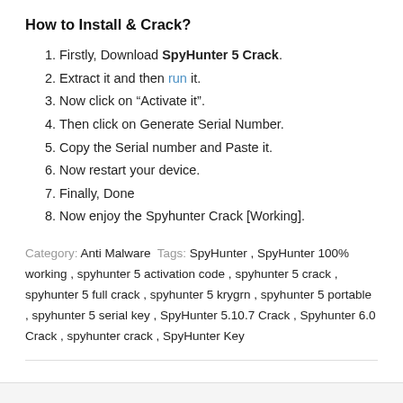How to Install & Crack?
Firstly, Download SpyHunter 5 Crack.
Extract it and then run it.
Now click on “Activate it”.
Then click on Generate Serial Number.
Copy the Serial number and Paste it.
Now restart your device.
Finally, Done
Now enjoy the Spyhunter Crack [Working].
Category: Anti Malware Tags: SpyHunter, SpyHunter 100% working, spyhunter 5 activation code, spyhunter 5 crack, spyhunter 5 full crack, spyhunter 5 krygrn, spyhunter 5 portable, spyhunter 5 serial key, SpyHunter 5.10.7 Crack, Spyhunter 6.0 Crack, spyhunter crack, SpyHunter Key